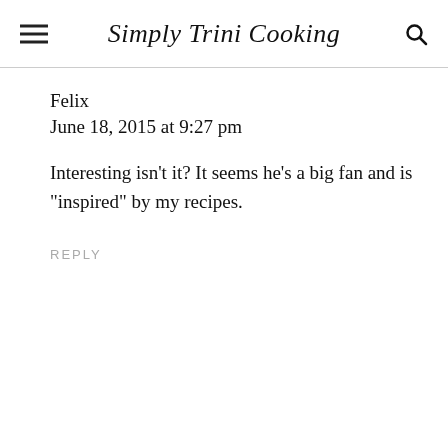Simply Trini Cooking
Felix
June 18, 2015 at 9:27 pm
Interesting isn't it? It seems he's a big fan and is "inspired" by my recipes.
REPLY